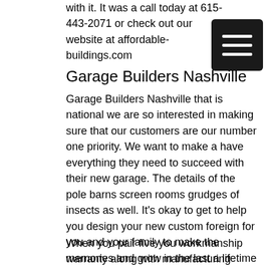with it. It was a call today at 615-443-2071 or check out our website at affordable- buildings.com
[Figure (other): Black hamburger menu button icon with three white horizontal lines on dark background]
Garage Builders Nashville
Garage Builders Nashville that is national we are so interested in making sure that our customers are our number one priority. We want to make a have everything they need to succeed with their new garage. The details of the pole barns screen rooms grudges of insects as well. It's okay to get to help you design your new custom foreign for you and your family to make the memories and grow in the last a lifetime for you guys. We understand that your needs are unique and that the freedom to design the right structure for you. We we want to make sure that your needs are being met and highly satisfied. You and your family to have fun and grow in your new garage.
When you pair five you workmanship warranty along with manufacturing teeth you are given assurance that